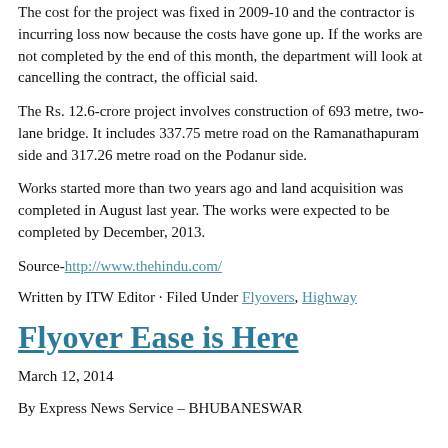The cost for the project was fixed in 2009-10 and the contractor is incurring loss now because the costs have gone up. If the works are not completed by the end of this month, the department will look at cancelling the contract, the official said.
The Rs. 12.6-crore project involves construction of 693 metre, two-lane bridge. It includes 337.75 metre road on the Ramanathapuram side and 317.26 metre road on the Podanur side.
Works started more than two years ago and land acquisition was completed in August last year. The works were expected to be completed by December, 2013.
Source-http://www.thehindu.com/
Written by ITW Editor · Filed Under Flyovers, Highway
Flyover Ease is Here
March 12, 2014
By Express News Service – BHUBANESWAR